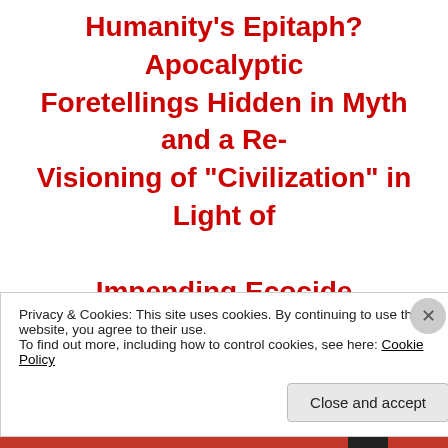Humanity's Epitaph? Apocalyptic Foretellings Hidden in Myth and a Re-Visioning of "Civilization" in Light of Impending Ecocide
Invite you to join me on Twitter:
http://twitter.com/sillymickel
friend me on Facebook:
Privacy & Cookies: This site uses cookies. By continuing to use this website, you agree to their use. To find out more, including how to control cookies, see here: Cookie Policy
Close and accept